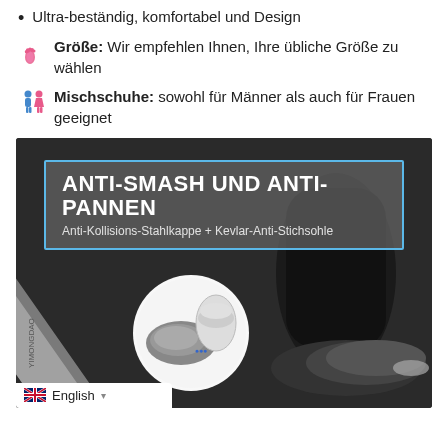Ultra-beständig, komfortabel und Design
Größe: Wir empfehlen Ihnen, Ihre übliche Größe zu wählen
Mischschuhe: sowohl für Männer als auch für Frauen geeignet
[Figure (photo): Product photo of safety shoes being struck by a hammer, with overlaid text 'ANTI-SMASH UND ANTI-PANNEN' and subtitle 'Anti-Kollisions-Stahlkappe + Kevlar-Anti-Stichsohle'. Shows a circular inset of steel toe cap and Kevlar insole. English language selector at bottom left.]